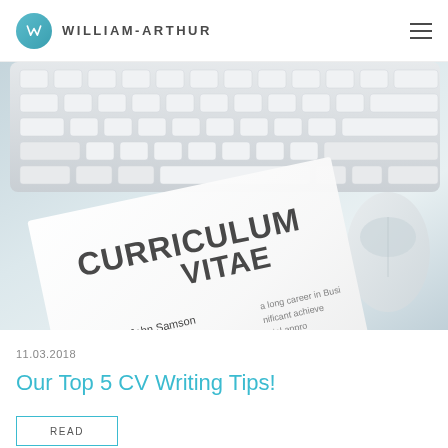WILLIAM-ARTHUR
[Figure (photo): Photograph of a curriculum vitae document next to a computer keyboard and mouse. The CV shows the name John Samson, DOB: 28.10.68, Position: Manager. 'CURRICULUM VITAE' is prominently displayed in large letters across the document.]
11.03.2018
Our Top 5 CV Writing Tips!
READ